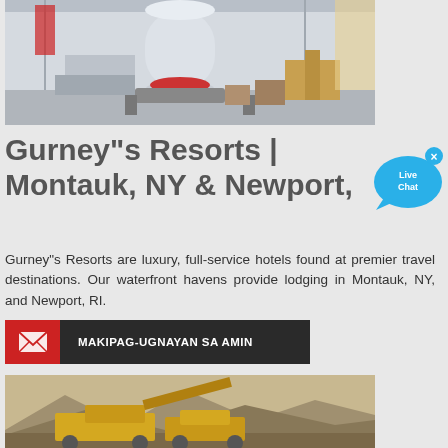[Figure (photo): Industrial machinery (large mill or grinder) inside a factory/warehouse with white painted walls and overhead structure.]
Gurney"s Resorts | Montauk, NY & Newport,
[Figure (infographic): Live Chat bubble icon in blue with 'Live Chat' text and an X close button.]
Gurney"s Resorts are luxury, full-service hotels found at premier travel destinations. Our waterfront havens provide lodging in Montauk, NY, and Newport, RI.
MAKIPAG-UGNAYAN SA AMIN
[Figure (photo): Outdoor mining equipment/machinery in a rocky desert landscape with mountains in the background.]